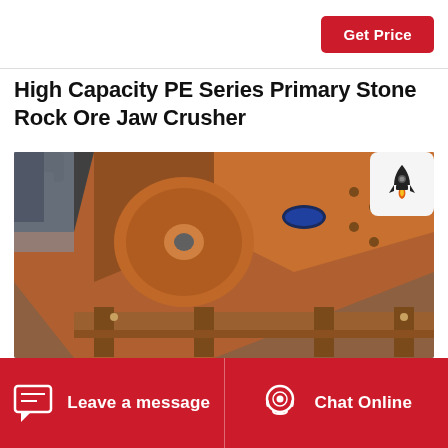Get Price
High Capacity PE Series Primary Stone Rock Ore Jaw Crusher
[Figure (photo): Close-up photograph of a large orange/brown PE Series jaw crusher machine, viewed from a low angle against a blue-grey sky. The machine shows heavy industrial metalwork including the flywheel, frame, and body panels.]
Leave a message
Chat Online